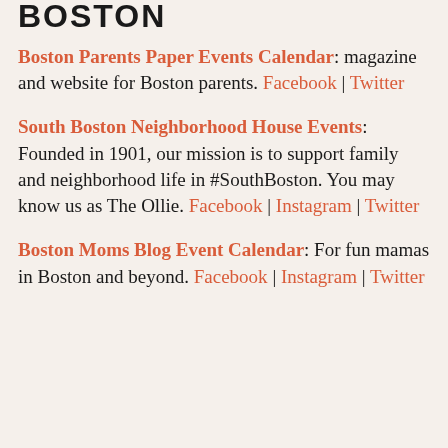BOSTON
Boston Parents Paper Events Calendar: magazine and website for Boston parents. Facebook | Twitter
South Boston Neighborhood House Events: Founded in 1901, our mission is to support family and neighborhood life in #SouthBoston. You may know us as The Ollie. Facebook | Instagram | Twitter
Boston Moms Blog Event Calendar: For fun mamas in Boston and beyond. Facebook | Instagram | Twitter